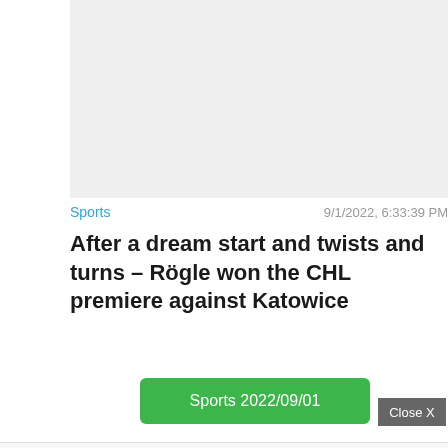[Figure (photo): Light gray image placeholder rectangle]
Sports
9/1/2022, 6:33:39 PM
After a dream start and twists and turns – Rögle won the CHL premiere against Katowice
Sports 2022/09/01
Close X